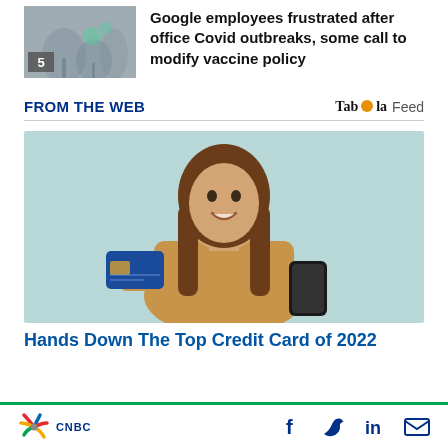[Figure (photo): Thumbnail image showing a foggy outdoor scene with a number 5 badge overlay]
Google employees frustrated after office Covid outbreaks, some call to modify vaccine policy
FROM THE WEB
[Figure (logo): Taboola Feed logo]
[Figure (photo): Young woman with long brown hair holding a blue credit card and a smartphone, smiling against a light teal background]
Hands Down The Top Credit Card of 2022
[Figure (logo): CNBC peacock logo and CNBC text]
[Figure (logo): Social media icons: Facebook, Twitter, LinkedIn, Email]